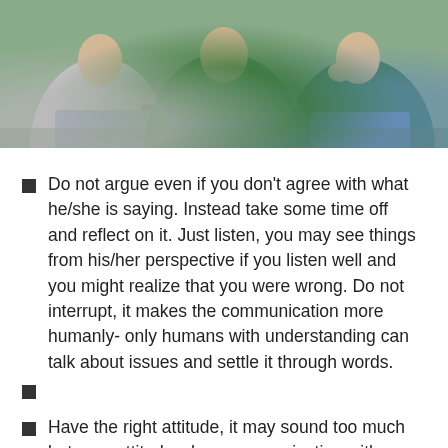[Figure (photo): Two people sitting, partially visible, one in white shirt and one in green shirt and jeans, appearing to be in conversation on a couch or seating area.]
Do not argue even if you don't agree with what he/she is saying. Instead take some time off and reflect on it. Just listen, you may see things from his/her perspective if you listen well and you might realize that you were wrong. Do not interrupt, it makes the communication more humanly- only humans with understanding can talk about issues and settle it through words.
Have the right attitude, it may sound too much but your attitude when communicating with your partner either encourages him/her to listen or not.